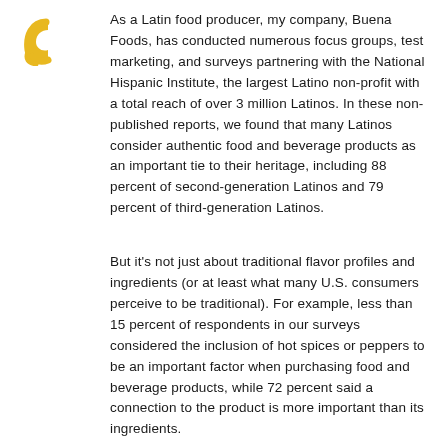[Figure (logo): Yellow decorative quotation mark or stylized letter G logo in gold/yellow color]
As a Latin food producer, my company, Buena Foods, has conducted numerous focus groups, test marketing, and surveys partnering with the National Hispanic Institute, the largest Latino non-profit with a total reach of over 3 million Latinos. In these non-published reports, we found that many Latinos consider authentic food and beverage products as an important tie to their heritage, including 88 percent of second-generation Latinos and 79 percent of third-generation Latinos.
But it's not just about traditional flavor profiles and ingredients (or at least what many U.S. consumers perceive to be traditional). For example, less than 15 percent of respondents in our surveys considered the inclusion of hot spices or peppers to be an important factor when purchasing food and beverage products, while 72 percent said a connection to the product is more important than its ingredients.